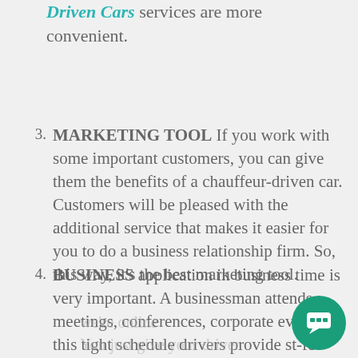Driven Cars services are more convenient.
3. MARKETING TOOL If you work with some important customers, you can give them the benefits of a chauffeur-driven car. Customers will be pleased with the additional service that makes it easier for you to do a business relationship firm. So, this way, it's the best marketing tool.
4. BUSINESS application in business time is very important. A businessman attends meetings, conferences, corporate events. In this tight schedule drivers provide st-- fee services. You just give your driver y-- time schedule, then he has the duty to